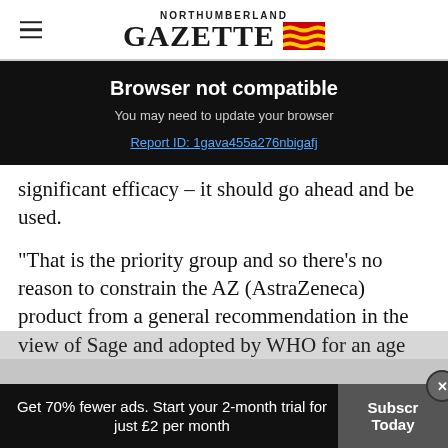NORTHUMBERLAND GAZETTE
Browser not compatible
You may need to update your browser
Report ID: 1gava455a276nbigafj
significant efficacy – it should go ahead and be used.
“That is the priority group and so there’s no reason to constrain the AZ (AstraZeneca) product from a general recommendation in the view of Sage and adopted by WHO for an age
Get 70% fewer ads. Start your 2-month trial for just £2 per month
Subscribe Today